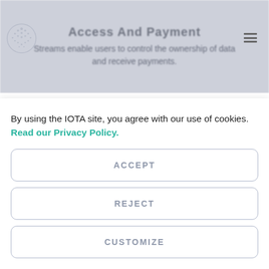Access And Payment
Streams enable users to control the ownership of data and receive payments.
How Does IOTA Streams
By using the IOTA site, you agree with our use of cookies. Read our Privacy Policy.
ACCEPT
REJECT
CUSTOMIZE